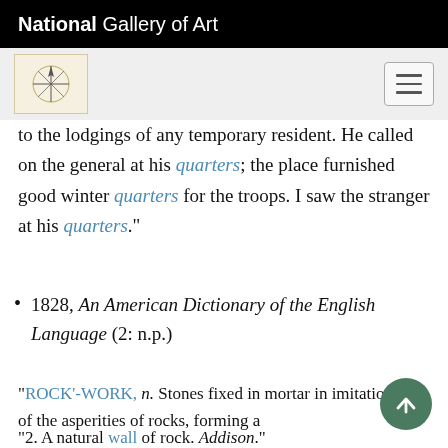National Gallery of Art
to the lodgings of any temporary resident. He called on the general at his quarters; the place furnished good winter quarters for the troops. I saw the stranger at his quarters."
1828, An American Dictionary of the English Language (2: n.p.)
"ROCK'-WORK, n. Stones fixed in mortar in imitation of the asperities of rocks, forming a
"2. A natural wall of rock. Addison."